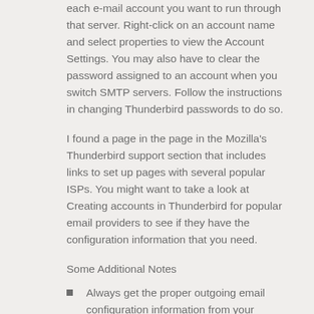each e-mail account you want to run through that server. Right-click on an account name and select properties to view the Account Settings. You may also have to clear the password assigned to an account when you switch SMTP servers. Follow the instructions in changing Thunderbird passwords to do so.
I found a page in the page in the Mozilla's Thunderbird support section that includes links to set up pages with several popular ISPs. You might want to take a look at Creating accounts in Thunderbird for popular email providers to see if they have the configuration information that you need.
Some Additional Notes
Always get the proper outgoing email configuration information from your hosting company or ISP.
Don't rule out the possibility that your PC might be causing the problem. Try temporarily disabling your